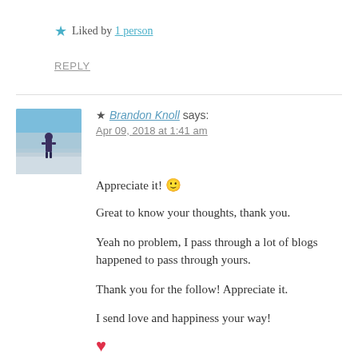★ Liked by 1 person
REPLY
[Figure (photo): Avatar photo of Brandon Knoll: a person standing outdoors on a snowy/icy landscape under a blue sky]
★ Brandon Knoll says: Apr 09, 2018 at 1:41 am
Appreciate it! 🙂
Great to know your thoughts, thank you.
Yeah no problem, I pass through a lot of blogs happened to pass through yours.
Thank you for the follow! Appreciate it.
I send love and happiness your way!
❤